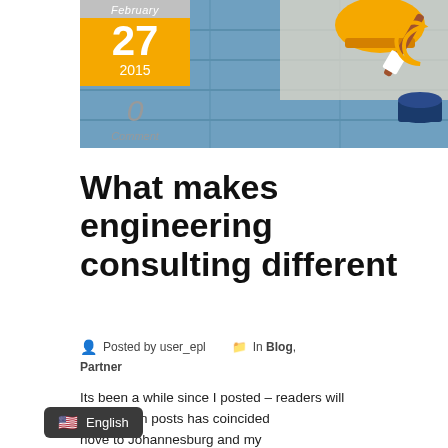[Figure (photo): Hero image showing construction/painting tools including a hard hat, paint brushes, and blue wooden background. A yellow/orange date badge overlays the left side showing February 27, 2015 with 0 Comments.]
What makes engineering consulting different
Posted by user_epl   In Blog, Partner
Its been a while since I posted – readers will [note] that my lull in posts has coincided [with my] move to Johannesburg and my